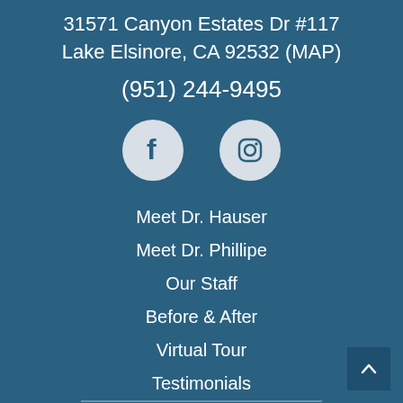31571 Canyon Estates Dr #117
Lake Elsinore, CA 92532 (MAP)
(951) 244-9495
[Figure (other): Facebook and Instagram social media icon circles on dark teal background]
Meet Dr. Hauser
Meet Dr. Phillipe
Our Staff
Before & After
Virtual Tour
Testimonials